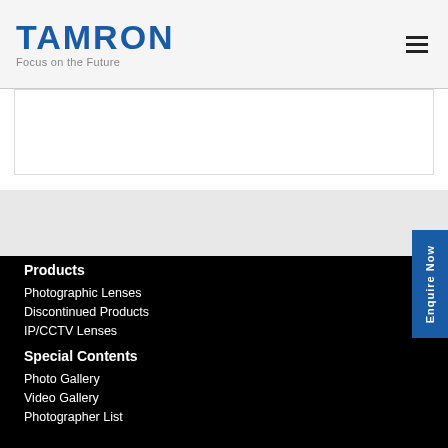[Figure (logo): Tamron logo with text 'TAMRON' in bold blue and tagline 'Focus on the Future' in gray]
[Figure (other): Hamburger menu icon (three horizontal lines)]
[Figure (other): White banner/advertisement area with border]
[Figure (other): Blue 'Enquire Now' vertical button on right side]
Products
Photographic Lenses
Discontinued Products
IP/CCTV Lenses
Special Contents
Photo Gallery
Video Gallery
Photographer List